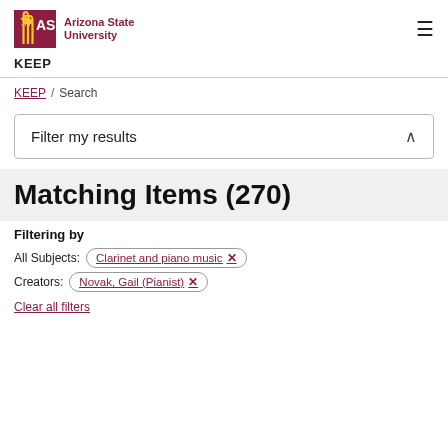[Figure (logo): Arizona State University ASU logo with sunburst icon and maroon text]
KEEP
KEEP / Search
Filter my results
Matching Items (270)
Filtering by
All Subjects: Clarinet and piano music ✕
Creators: Novak, Gail (Pianist) ✕
Clear all filters